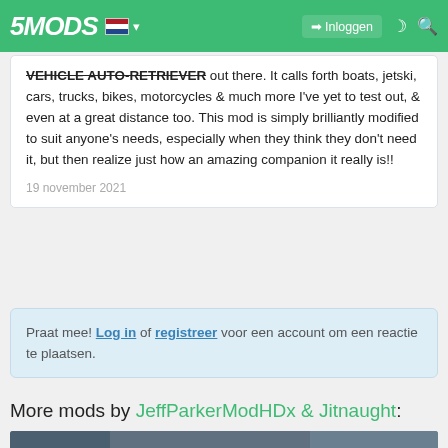5MODS | Inloggen
VEHICLE AUTO-RETRIEVER out there. It calls forth boats, jetski, cars, trucks, bikes, motorcycles & much more I've yet to test out, & even at a great distance too. This mod is simply brilliantly modified to suit anyone's needs, especially when they think they don't need it, but then realize just how an amazing companion it really is!!
19 november 2021
Praat mee! Log in of registreer voor een account om een reactie te plaatsen.
More mods by JeffParkerModHDx & Jitnaught:
[Figure (screenshot): Screenshot of a GTA-style game scene with palm trees and buildings]